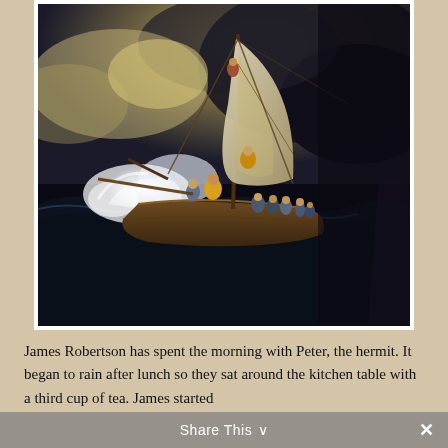[Figure (illustration): Rembrandt's painting 'The Storm on the Sea of Galilee' showing a sailing vessel in turbulent dark waters with multiple figures aboard struggling against a fierce storm, waves crashing against the hull, billowing sails, dramatic dark sky with clouds, and bright white foam spray.]
James Robertson has spent the morning with Peter, the hermit. It began to rain after lunch so they sat around the kitchen table with a third cup of tea. James started